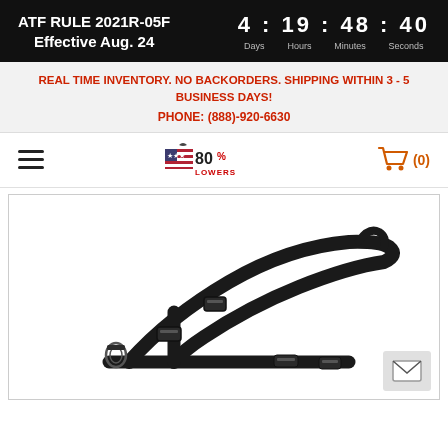ATF RULE 2021R-05F Effective Aug. 24 | 4 : 19 : 48 : 40 Days Hours Minutes Seconds
REAL TIME INVENTORY. NO BACKORDERS. SHIPPING WITHIN 3 - 5 BUSINESS DAYS!
PHONE: (888)-920-6630
[Figure (logo): 80% Lowers logo with US flag icon and cart icon showing (0)]
[Figure (photo): Black tactical rifle sling/strap with adjustment buckles displayed on white background]